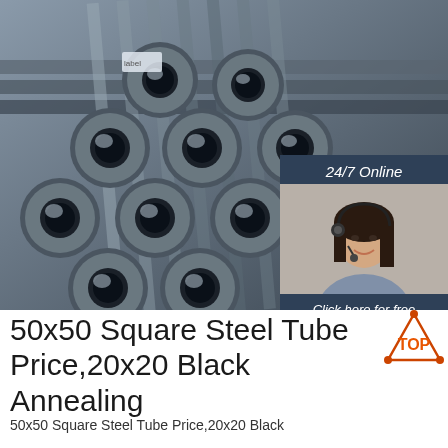[Figure (photo): Photo of bundled dark steel hollow tubes/pipes stacked together viewed from the end, showing circular cross-sections. Overlaid with a customer service chat box in the top right showing a woman with a headset, '24/7 Online' text, 'Click here for free chat!' text, and an orange QUOTATION button.]
50x50 Square Steel Tube Price,20x20 Black Annealing
50x50 Square Steel Tube Price,20x20 Black